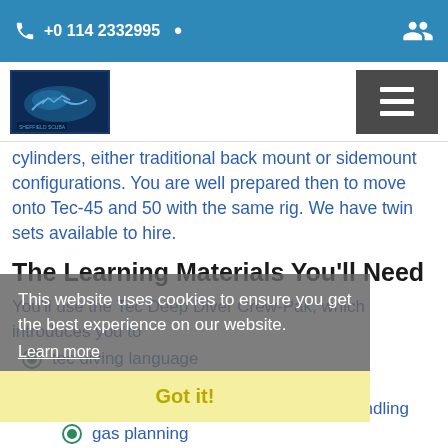+0 114 2332995
[Figure (logo): Diving school logo with underwater scene]
cylinders, either traditional back mount or sidemount configurations. You are well prepared then to move onto Tec-45 and 50 with the same rig. We have twin sets available to hire.
The Learning Materials You'll Need
You'll use the Tec Deep Diver Crew-Pak, which introduces you to
This website uses cookies to ensure you get the best experience on our website.
Learn more
tec diving language
emergency procedures
decompression and stage cylinder handling
gas planning
Got it!
The pack includes a manual, dive planning checklists and dive planning slate. The optional Equipment Set-up and Key Skills video on DVD is a great tool to help you practice at home in